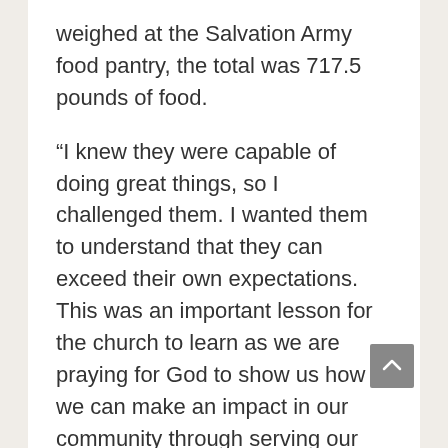weighed at the Salvation Army food pantry, the total was 717.5 pounds of food.
“I knew they were capable of doing great things, so I challenged them. I wanted them to understand that they can exceed their own expectations. This was an important lesson for the church to learn as we are praying for God to show us how we can make an impact in our community through serving our neighbors,” said Pastor Tracy Siegman. She does this in memory of Harold Harmison, a mentor and lay pastor from Illinois, who set the example of challenging congregations.